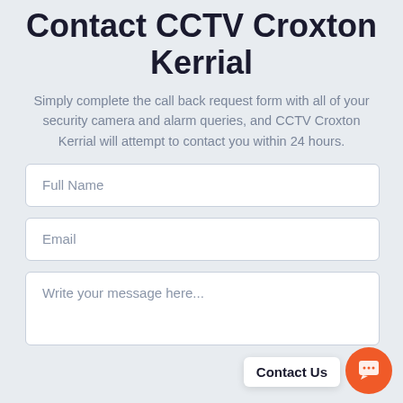Contact CCTV Croxton Kerrial
Simply complete the call back request form with all of your security camera and alarm queries, and CCTV Croxton Kerrial will attempt to contact you within 24 hours.
Full Name
Email
Write your message here...
Contact Us